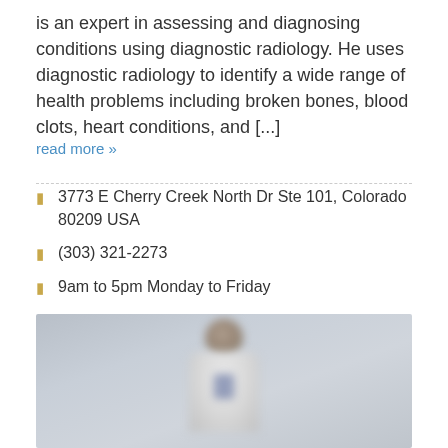is an expert in assessing and diagnosing conditions using diagnostic radiology. He uses diagnostic radiology to identify a wide range of health problems including broken bones, blood clots, heart conditions, and [...]
read more »
3773 E Cherry Creek North Dr Ste 101, Colorado 80209 USA
(303) 321-2273
9am to 5pm Monday to Friday
[Figure (photo): Blurred photo of a doctor in a white coat against a grey background]